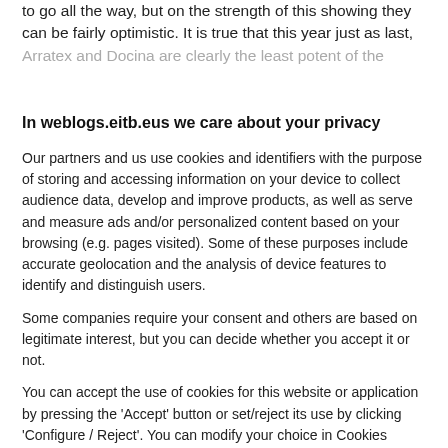to go all the way, but on the strength of this showing they can be fairly optimistic. It is true that this year just as last, Arratex and Docina are clearly the least potent of the
In weblogs.eitb.eus we care about your privacy
Our partners and us use cookies and identifiers with the purpose of storing and accessing information on your device to collect audience data, develop and improve products, as well as serve and measure ads and/or personalized content based on your browsing (e.g. pages visited). Some of these purposes include accurate geolocation and the analysis of device features to identify and distinguish users.
Some companies require your consent and others are based on legitimate interest, but you can decide whether you accept it or not.
You can accept the use of cookies for this website or application by pressing the 'Accept' button or set/reject its use by clicking 'Configure / Reject'. You can modify your choice in Cookies Privacy Settings. More Info. Cookie policy.
Accept
More options
See list of partners
Sibb° ver 125.38